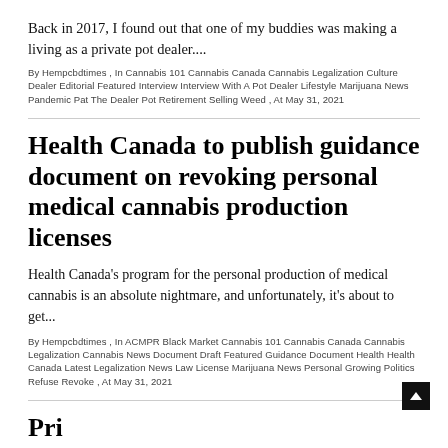Back in 2017, I found out that one of my buddies was making a living as a private pot dealer....
By Hempcbdtimes , In Cannabis 101 Cannabis Canada Cannabis Legalization Culture Dealer Editorial Featured Interview Interview With A Pot Dealer Lifestyle Marijuana News Pandemic Pat The Dealer Pot Retirement Selling Weed , At May 31, 2021
Health Canada to publish guidance document on revoking personal medical cannabis production licenses
Health Canada's program for the personal production of medical cannabis is an absolute nightmare, and unfortunately, it's about to get...
By Hempcbdtimes , In ACMPR Black Market Cannabis 101 Cannabis Canada Cannabis Legalization Cannabis News Document Draft Featured Guidance Document Health Health Canada Latest Legalization News Law License Marijuana News Personal Growing Politics Refuse Revoke , At May 31, 2021
Pri...